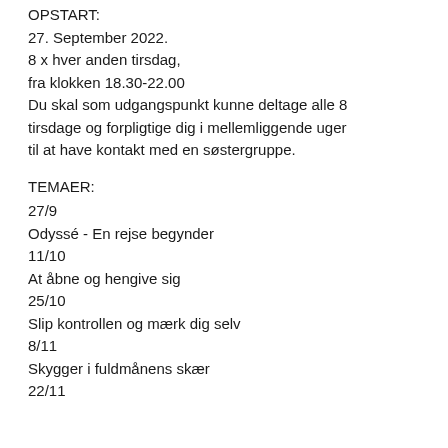OPSTART:
27. September 2022.
8 x hver anden tirsdag,
fra klokken 18.30-22.00
Du skal som udgangspunkt kunne deltage alle 8 tirsdage og forpligtige dig i mellemliggende uger til at have kontakt med en søstergruppe.
TEMAER:
27/9
Odyssé - En rejse begynder
11/10
At åbne og hengive sig
25/10
Slip kontrollen og mærk dig selv
8/11
Skygger i fuldmånens skær
22/11